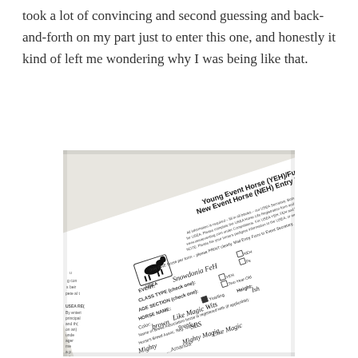took a lot of convincing and second guessing and back-and-forth on my part just to enter this one, and honestly it kind of left me wondering why I was being like that.
[Figure (photo): A photograph of a USEA Young Event Horse (YEH)/Future Event Horse / New Event Horse (NEH) Entry Form, partially filled out. Visible fields include: Only ONE horse per form - Snowdonia FEH, EVENT: [blank], CLASS TYPE: YEH checked, AGE SECTION: Yearling checked, HORSE NAME: Like Magic Wits, Height: Ish, Color: brown, Breed: SBS, Name of Breed Association Reg. Name: Like Magic [something], Horse's Breed Assoc. Reg. Name: Mighty Magic [something], and partial text at edges. The USEA logo with a jumping horse silhouette is visible.]